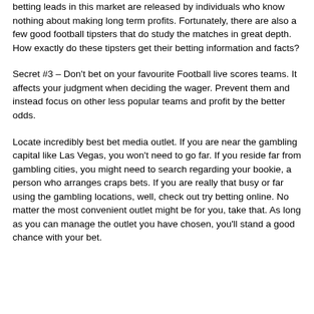betting leads in this market are released by individuals who know nothing about making long term profits. Fortunately, there are also a few good football tipsters that do study the matches in great depth. How exactly do these tipsters get their betting information and facts?
Secret #3 – Don't bet on your favourite Football live scores teams. It affects your judgment when deciding the wager. Prevent them and instead focus on other less popular teams and profit by the better odds.
Locate incredibly best bet media outlet. If you are near the gambling capital like Las Vegas, you won't need to go far. If you reside far from gambling cities, you might need to search regarding your bookie, a person who arranges craps bets. If you are really that busy or far using the gambling locations, well, check out try betting online. No matter the most convenient outlet might be for you, take that. As long as you can manage the outlet you have chosen, you'll stand a good chance with your bet.